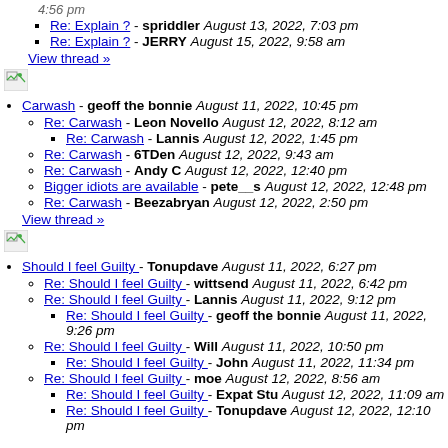Re: Explain ? - spriddler August 13, 2022, 7:03 pm
Re: Explain ? - JERRY August 15, 2022, 9:58 am
View thread »
[Figure (other): Broken image icon]
Carwash - geoff the bonnie August 11, 2022, 10:45 pm
Re: Carwash - Leon Novello August 12, 2022, 8:12 am
Re: Carwash - Lannis August 12, 2022, 1:45 pm
Re: Carwash - 6TDen August 12, 2022, 9:43 am
Re: Carwash - Andy C August 12, 2022, 12:40 pm
Bigger idiots are available - pete__s August 12, 2022, 12:48 pm
Re: Carwash - Beezabryan August 12, 2022, 2:50 pm
View thread »
[Figure (other): Broken image icon]
Should I feel Guilty - Tonupdave August 11, 2022, 6:27 pm
Re: Should I feel Guilty - wittsend August 11, 2022, 6:42 pm
Re: Should I feel Guilty - Lannis August 11, 2022, 9:12 pm
Re: Should I feel Guilty - geoff the bonnie August 11, 2022, 9:26 pm
Re: Should I feel Guilty - Will August 11, 2022, 10:50 pm
Re: Should I feel Guilty - John August 11, 2022, 11:34 pm
Re: Should I feel Guilty - moe August 12, 2022, 8:56 am
Re: Should I feel Guilty - Expat Stu August 12, 2022, 11:09 am
Re: Should I feel Guilty - Tonupdave August 12, 2022, 12:10 pm